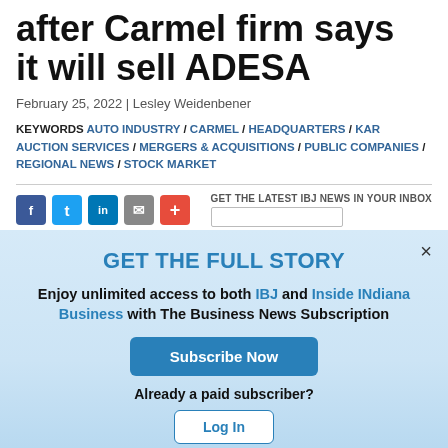after Carmel firm says it will sell ADESA
February 25, 2022 | Lesley Weidenbener
KEYWORDS AUTO INDUSTRY / CARMEL / HEADQUARTERS / KAR AUCTION SERVICES / MERGERS & ACQUISITIONS / PUBLIC COMPANIES / REGIONAL NEWS / STOCK MARKET
GET THE LATEST IBJ NEWS IN YOUR INBOX
GET THE FULL STORY
Enjoy unlimited access to both IBJ and Inside INdiana Business with The Business News Subscription
Subscribe Now
Already a paid subscriber?
Log In